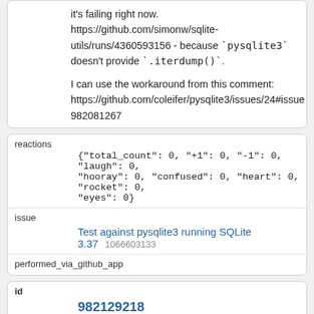it's failing right now. https://github.com/simonw/sqlite-utils/runs/4360593156 - because `pysqlite3` doesn't provide `.iterdump()`. I can use the workaround from this comment: https://github.com/coleifer/pysqlite3/issues/24#issue 982081267
reactions
{"total_count": 0, "+1": 0, "-1": 0, "laugh": 0, "hooray": 0, "confused": 0, "heart": 0, "rocket": 0, "eyes": 0}
issue
Test against pysqlite3 running SQLite 3.37 1066603133
performed_via_github_app
id
982129218